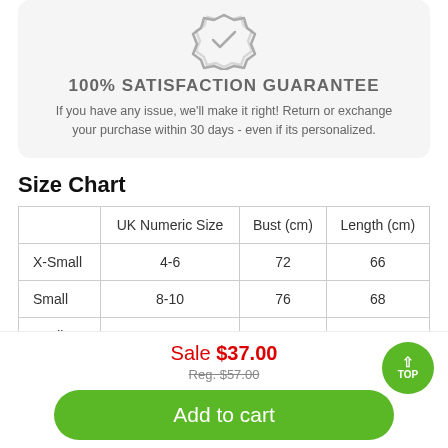[Figure (illustration): Badge/seal icon with checkmark inside, grey outline style]
100% SATISFACTION GUARANTEE
If you have any issue, we'll make it right! Return or exchange your purchase within 30 days - even if its personalized.
Size Chart
|  | UK Numeric Size | Bust (cm) | Length (cm) |
| --- | --- | --- | --- |
| X-Small | 4-6 | 72 | 66 |
| Small | 8-10 | 76 | 68 |
| Medium | 12-14 | 80 | 70 |
Sale $37.00
Reg. $57.00
Add to cart